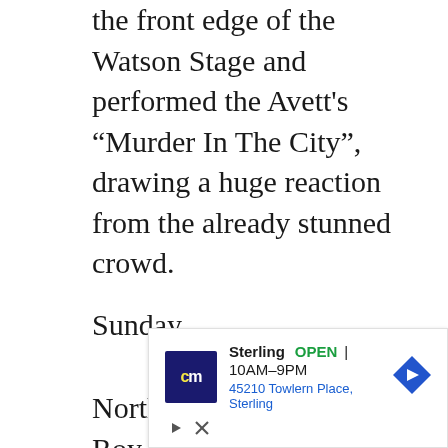the front edge of the Watson Stage and performed the Avett's “Murder In The City”, drawing a huge reaction from the already stunned crowd.
Sunday
North Carolina Governor Roy Cooper introduced Steep Canyon Rangers Sunday afternoon on the Watson Stage. Late last year, Gov. Cooper declared 2019 to be North Carolina’s “Year of Music”, adding, “from
[Figure (other): Advertisement for a store in Sterling. Shows CM logo (blue background with yellow 'cm' text), store name 'Sterling', status 'OPEN', hours '10AM-9PM', address '45210 Towlern Place, Sterling', and a blue diamond navigation arrow icon. Below the ad are play and close (X) button controls.]